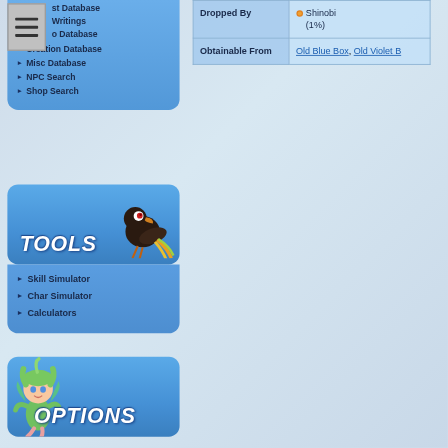[Figure (screenshot): Hamburger menu button icon (three horizontal lines) in grey box at top left]
st Database
Writings
o Database
Creation Database
Misc Database
NPC Search
Shop Search
|  |  |
| --- | --- |
| Dropped By | Shinobi (1%) |
| Obtainable From | Old Blue Box, Old Violet B... |
[Figure (screenshot): Tools section header with dark bird/toucan game sprite and 'Tools' title text in white italic bold]
Skill Simulator
Char Simulator
Calculators
[Figure (screenshot): Options section header with green fairy/sprite game character and 'Options' title text in white italic bold]